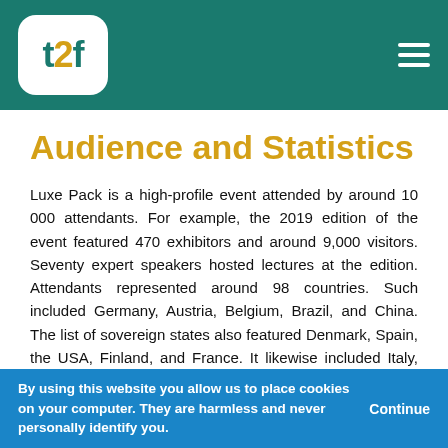t2f logo and navigation
Audience and Statistics
Luxe Pack is a high-profile event attended by around 10 000 attendants. For example, the 2019 edition of the event featured 470 exhibitors and around 9,000 visitors. Seventy expert speakers hosted lectures at the edition. Attendants represented around 98 countries. Such included Germany, Austria, Belgium, Brazil, and China. The list of sovereign states also featured Denmark, Spain, the USA, Finland, and France. It likewise included Italy, Japan, Luxembourg, Malta, Mexico, and the Netherlands. Poland, Portugal, the Czech Republic, and Great Britain have sent delegates as well. Switzerland, Taiwan, and Turkey likewise often attend.
Trade delegates come to the fair from different industries and sectors. Among them, is the food and beverage industry and sectors, fine foods and wine & spirits. The packaging indu...
By using this website you allow us to place cookies on your computer. They are harmless and never personally identify you. Continue